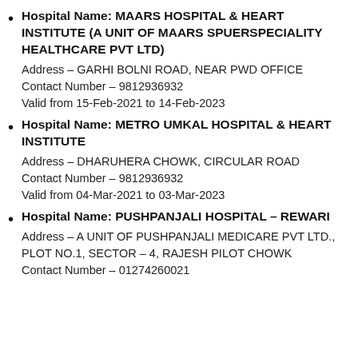Hospital Name: MAARS HOSPITAL & HEART INSTITUTE (A UNIT OF MAARS SPUERSPECIALITY HEALTHCARE PVT LTD)
Address – GARHI BOLNI ROAD, NEAR PWD OFFICE
Contact Number – 9812936932
Valid from 15-Feb-2021 to 14-Feb-2023
Hospital Name: METRO UMKAL HOSPITAL & HEART INSTITUTE
Address – DHARUHERA CHOWK, CIRCULAR ROAD
Contact Number – 9812936932
Valid from 04-Mar-2021 to 03-Mar-2023
Hospital Name: PUSHPANJALI HOSPITAL – REWARI
Address – A UNIT OF PUSHPANJALI MEDICARE PVT LTD., PLOT NO.1, SECTOR – 4, RAJESH PILOT CHOWK
Contact Number – 01274260021